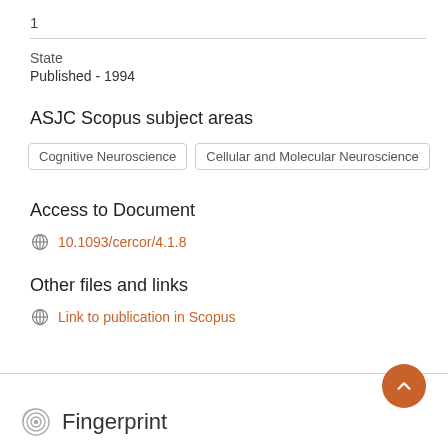1
State
Published - 1994
ASJC Scopus subject areas
Cognitive Neuroscience
Cellular and Molecular Neuroscience
Access to Document
10.1093/cercor/4.1.8
Other files and links
Link to publication in Scopus
Fingerprint